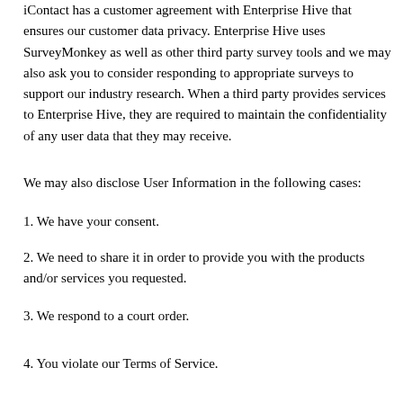iContact has a customer agreement with Enterprise Hive that ensures our customer data privacy. Enterprise Hive uses SurveyMonkey as well as other third party survey tools and we may also ask you to consider responding to appropriate surveys to support our industry research. When a third party provides services to Enterprise Hive, they are required to maintain the confidentiality of any user data that they may receive.
We may also disclose User Information in the following cases:
1. We have your consent.
2. We need to share it in order to provide you with the products and/or services you requested.
3. We respond to a court order.
4. You violate our Terms of Service.